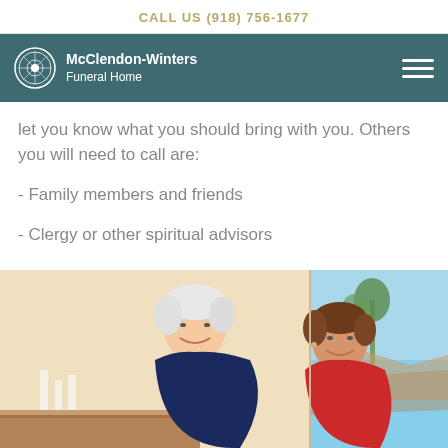CALL US (918) 756-1677
McClendon-Winters Funeral Home
let you know what you should bring with you. Others you will need to call are:
- Family members and friends
- Clergy or other spiritual advisors
[Figure (photo): An elderly man with white hair smiling, sitting next to a woman with short brown hair wearing a red top, appearing to be in conversation indoors.]